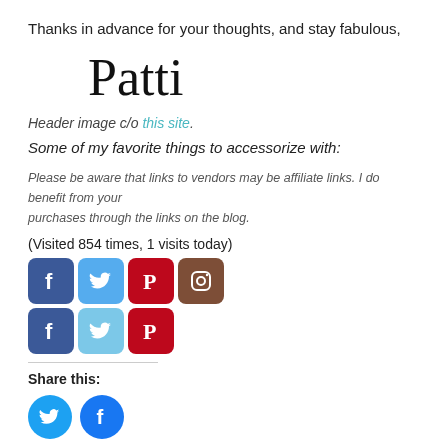Thanks in advance for your thoughts, and stay fabulous,
Patti
Header image c/o this site.
Some of my favorite things to accessorize with:
Please be aware that links to vendors may be affiliate links. I do benefit from your purchases through the links on the blog.
(Visited 854 times, 1 visits today)
[Figure (other): Social media share icons: Facebook, Twitter, Pinterest, Instagram (row 1); Facebook, Twitter, Pinterest (row 2)]
Share this:
[Figure (other): Share buttons: Twitter (cyan circle), Facebook (blue circle)]